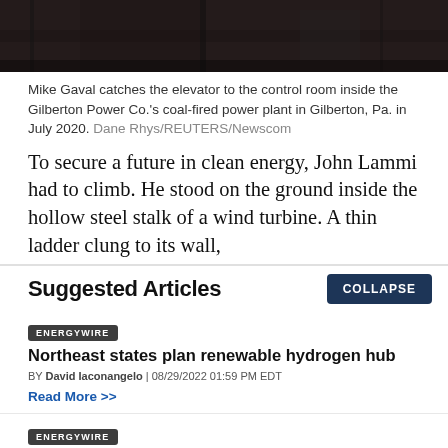[Figure (photo): Dark interior photo showing the inside of a building, partially cut off at the top of the page.]
Mike Gaval catches the elevator to the control room inside the Gilberton Power Co.'s coal-fired power plant in Gilberton, Pa. in July 2020. Dane Rhys/REUTERS/Newscom
To secure a future in clean energy, John Lammi had to climb. He stood on the ground inside the hollow steel stalk of a wind turbine. A thin ladder clung to its wall,
Suggested Articles
COLLAPSE
ENERGYWIRE
Northeast states plan renewable hydrogen hub
BY David Iaconangelo | 08/29/2022 01:59 PM EDT
Read More >>
ENERGYWIRE
Trouble on pipeline's path hits home for Manchin